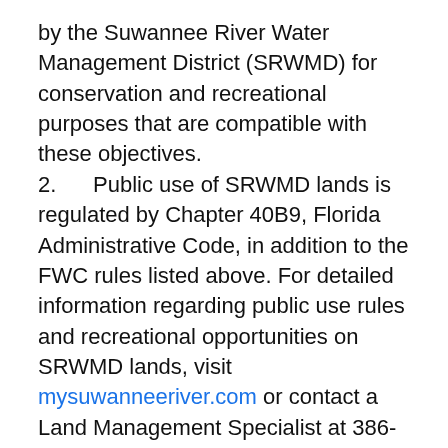by the Suwannee River Water Management District (SRWMD) for conservation and recreational purposes that are compatible with these objectives.
2.      Public use of SRWMD lands is regulated by Chapter 40B9, Florida Administrative Code, in addition to the FWC rules listed above. For detailed information regarding public use rules and recreational opportunities on SRWMD lands, visit mysuwanneeriver.com or contact a Land Management Specialist at 386-362-1001, 800- 226-1066 (FL only) or recreation@srwmd.org.
3.      Public access on SRWMD-managed lands is allowed from 1½ hours before sunrise until 1½ hours after sunset, except by persons possessing a Special Use Authorization from the SRWMD.
4.      On District-managed lands, all motorized vehicles must be licensed for use on Florida